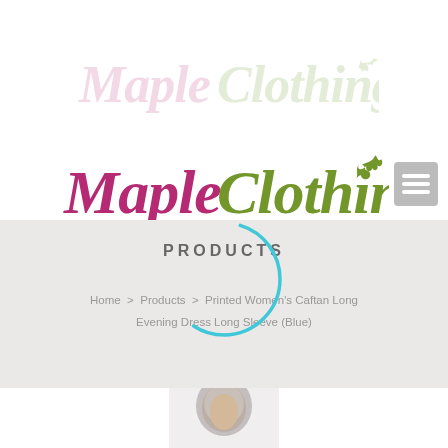[Figure (logo): Maple Clothing logo (faded watermark) with cursive pink 'Maple' and green 'Clothing' text with maple leaf icon, shown at reduced opacity]
[Figure (logo): Maple Clothing main logo with cursive dark pink/magenta 'Maple' and olive green 'Clothing' text with maple leaf SVG icon]
[Figure (screenshot): Navigation hamburger menu icon — gray square with three white horizontal lines]
[Figure (screenshot): Gray hero banner section showing 'PRODUCTS' heading with a cyan loading spinner arc, plus breadcrumb navigation: Home > Products > Printed Women's Caftan Long Evening Dress Long Sleeve (Blue)]
[Figure (photo): Partial product photo at bottom of page showing a woman's face/head partially visible, cropped]